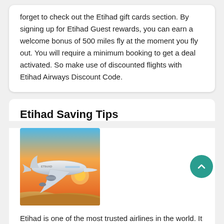forget to check out the Etihad gift cards section. By signing up for Etihad Guest rewards, you can earn a welcome bonus of 500 miles fly at the moment you fly out. You will require a minimum booking to get a deal activated. So make use of discounted flights with Etihad Airways Discount Code.
Etihad Saving Tips
[Figure (photo): Etihad Airways airplane flying above desert landscape at sunset/dusk with warm orange sky.]
Etihad is one of the most trusted airlines in the world. It follows a competitive pricing policy for its international flight to top destinations, domestic economy flights, hotel